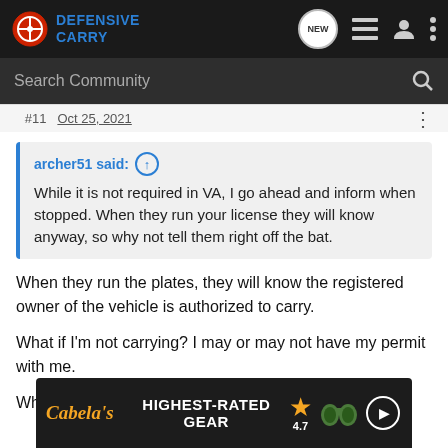Defensive Carry — Navigation bar with search
archer51 said: ↑
While it is not required in VA, I go ahead and inform when stopped. When they run your license they will know anyway, so why not tell them right off the bat.
When they run the plates, they will know the registered owner of the vehicle is authorized to carry.
What if I'm not carrying? I may or may not have my permit with me.
What if …
[Figure (other): Cabela's advertisement banner: HIGHEST-RATED GEAR with star rating 4.7 and binoculars image]